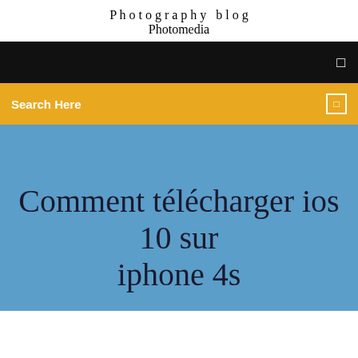Photography blog
Photomedia
☰
Search Here
☐
Comment télécharger ios 10 sur iphone 4s